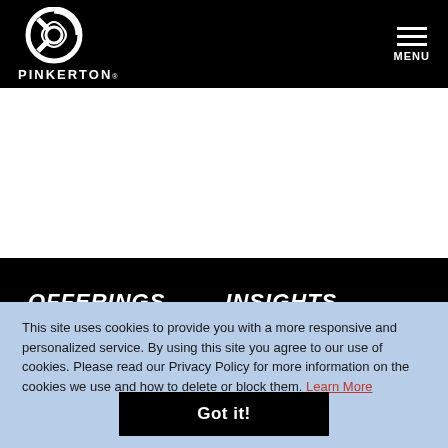PINKERTON® — MENU
OFFERINGS    INSIGHTS
This site uses cookies to provide you with a more responsive and personalized service. By using this site you agree to our use of cookies. Please read our Privacy Policy for more information on the cookies we use and how to delete or block them. Learn More
Got it!